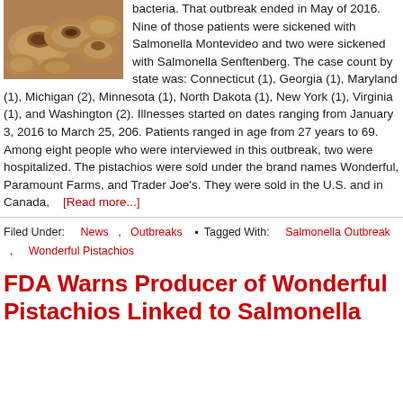[Figure (photo): Close-up photo of pistachios in shells, warm brown/orange tones]
bacteria. That outbreak ended in May of 2016. Nine of those patients were sickened with Salmonella Montevideo and two were sickened with Salmonella Senftenberg. The case count by state was: Connecticut (1), Georgia (1), Maryland (1), Michigan (2), Minnesota (1), North Dakota (1), New York (1), Virginia (1), and Washington (2). Illnesses started on dates ranging from January 3, 2016 to March 25, 206. Patients ranged in age from 27 years to 69. Among eight people who were interviewed in this outbreak, two were hospitalized. The pistachios were sold under the brand names Wonderful, Paramount Farms, and Trader Joe's. They were sold in the U.S. and in Canada, … [Read more...]
Filed Under: News , Outbreaks • Tagged With: Salmonella Outbreak , Wonderful Pistachios
FDA Warns Producer of Wonderful Pistachios Linked to Salmonella